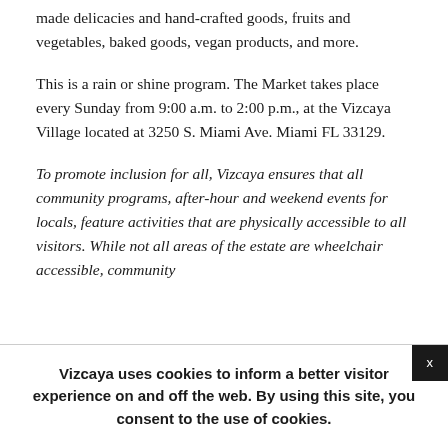made delicacies and hand-crafted goods, fruits and vegetables, baked goods, vegan products, and more.
This is a rain or shine program. The Market takes place every Sunday from 9:00 a.m. to 2:00 p.m., at the Vizcaya Village located at 3250 S. Miami Ave. Miami FL 33129.
To promote inclusion for all, Vizcaya ensures that all community programs, after-hour and weekend events for locals, feature activities that are physically accessible to all visitors. While not all areas of the estate are wheelchair accessible, community
Vizcaya uses cookies to inform a better visitor experience on and off the web. By using this site, you consent to the use of cookies.